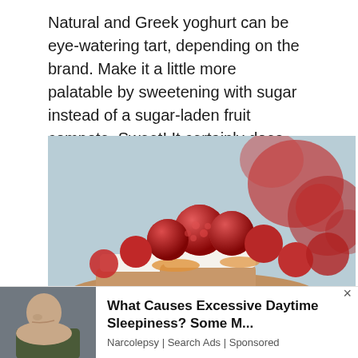Natural and Greek yoghurt can be eye-watering tart, depending on the brand. Make it a little more palatable by sweetening with sugar instead of a sugar-laden fruit compote. Sweet! It certainly does the trick with these Raspberry Frozen FroYo Bites – recipe here.
[Figure (photo): Close-up photo of raspberry frozen yoghurt bites — small round cheesecake-style bites with a biscuit base, white yoghurt filling, and fresh red raspberries on top]
[Figure (photo): Advertisement banner: photo of elderly man sleeping on left, text 'What Causes Excessive Daytime Sleepiness? Some M...' with 'Narcolepsy | Search Ads | Sponsored' below]